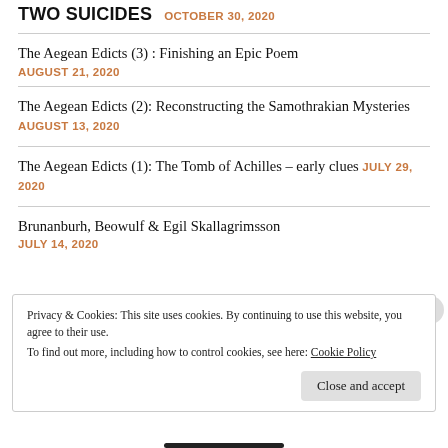TWO SUICIDES OCTOBER 30, 2020
The Aegean Edicts (3) : Finishing an Epic Poem AUGUST 21, 2020
The Aegean Edicts (2): Reconstructing the Samothrakian Mysteries AUGUST 13, 2020
The Aegean Edicts (1): The Tomb of Achilles – early clues JULY 29, 2020
Brunanburh, Beowulf & Egil Skallagrimsson JULY 14, 2020
Privacy & Cookies: This site uses cookies. By continuing to use this website, you agree to their use. To find out more, including how to control cookies, see here: Cookie Policy Close and accept